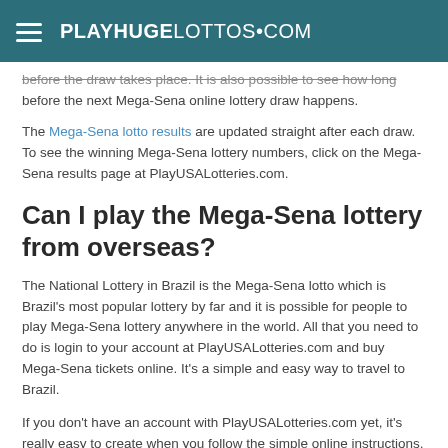PLAYHUGELOTTOS.COM
before the draw takes place. It is also possible to see how long before the next Mega-Sena online lottery draw happens.
The Mega-Sena lotto results are updated straight after each draw. To see the winning Mega-Sena lottery numbers, click on the Mega-Sena results page at PlayUSALotteries.com.
Can I play the Mega-Sena lottery from overseas?
The National Lottery in Brazil is the Mega-Sena lotto which is Brazil's most popular lottery by far and it is possible for people to play Mega-Sena lottery anywhere in the world. All that you need to do is login to your account at PlayUSALotteries.com and buy Mega-Sena tickets online. It's a simple and easy way to travel to Brazil.
If you don't have an account with PlayUSALotteries.com yet, it's really easy to create when you follow the simple online instructions. The next step is to add funds to your account and once the funds have reflected in your account, you can buy Mega-Sena tickets